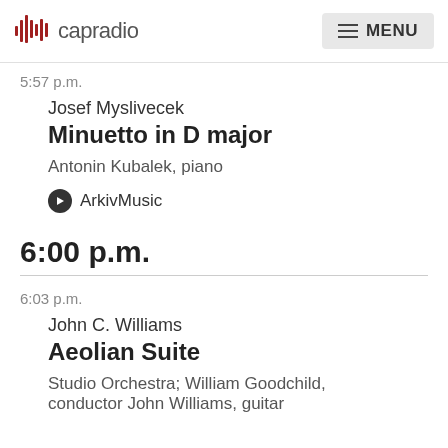capradio | MENU
5:57 p.m.
Josef Myslivecek
Minuetto in D major
Antonin Kubalek, piano
ArkivMusic
6:00 p.m.
6:03 p.m.
John C. Williams
Aeolian Suite
Studio Orchestra; William Goodchild, conductor John Williams, guitar